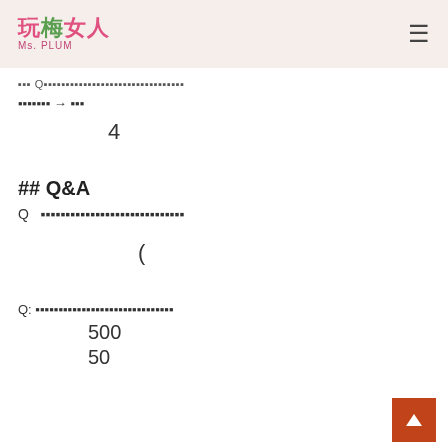玩梅女人 Ms. PLUM [hamburger menu]
▪▪▪ Q▪▪▪▪▪▪▪▪▪▪▪▪▪▪▪▪▪▪▪▪▪▪▪▪▪▪▪
▪▪▪▪▪▪▪ → ▪▪▪
4
## Q&A
Q　▪▪▪▪▪▪▪▪▪▪▪▪▪▪▪▪▪▪▪▪▪▪▪
(                    )
Q: ▪▪▪▪▪▪▪▪▪▪▪▪▪▪▪▪▪▪▪▪▪▪▪▪▪
500
50